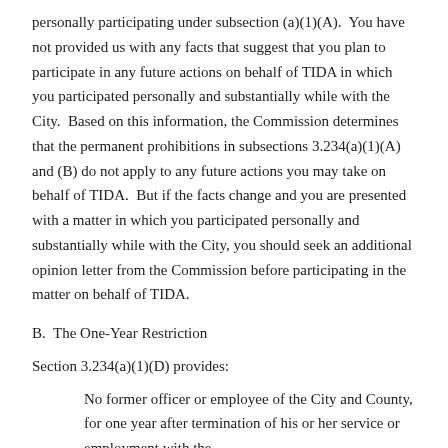personally participating under subsection (a)(1)(A).  You have not provided us with any facts that suggest that you plan to participate in any future actions on behalf of TIDA in which you participated personally and substantially while with the City.  Based on this information, the Commission determines that the permanent prohibitions in subsections 3.234(a)(1)(A) and (B) do not apply to any future actions you may take on behalf of TIDA.  But if the facts change and you are presented with a matter in which you participated personally and substantially while with the City, you should seek an additional opinion letter from the Commission before participating in the matter on behalf of TIDA.
B.  The One-Year Restriction
Section 3.234(a)(1)(D) provides:
No former officer or employee of the City and County, for one year after termination of his or her service or employment with the